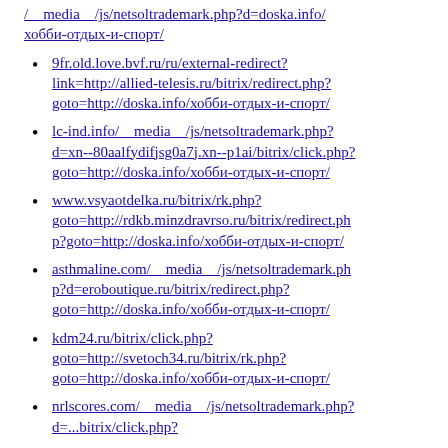/__media__/js/netsoltrademark.php?d=doska.info/хобби-отдых-и-спорт/
9fr.old.love.bvf.ru/ru/external-redirect?link=http://allied-telesis.ru/bitrix/redirect.php?goto=http://doska.info/хобби-отдых-и-спорт/
lc-ind.info/__media__/js/netsoltrademark.php?d=xn--80aalfydifjsg0a7j.xn--p1ai/bitrix/click.php?goto=http://doska.info/хобби-отдых-и-спорт/
www.vsyaotdelka.ru/bitrix/rk.php?goto=http://rdkb.minzdravrso.ru/bitrix/redirect.php?goto=http://doska.info/хобби-отдых-и-спорт/
asthmaline.com/__media__/js/netsoltrademark.php?d=eroboutique.ru/bitrix/redirect.php?goto=http://doska.info/хобби-отдых-и-спорт/
kdm24.ru/bitrix/click.php?goto=http://svetoch34.ru/bitrix/rk.php?goto=http://doska.info/хобби-отдых-и-спорт/
nrlscores.com/__media__/js/netsoltrademark.php?d=...